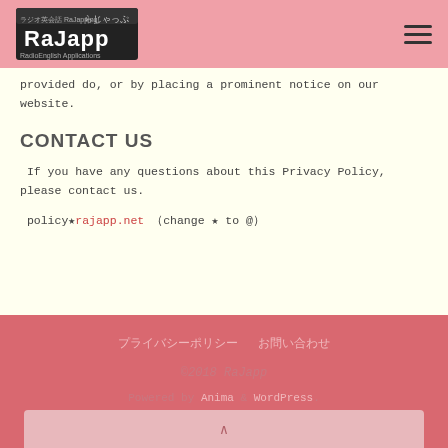RaJapp logo and navigation menu
provided do, or by placing a prominent notice on our website.
CONTACT US
If you have any questions about this Privacy Policy, please contact us.
policy★rajapp.net （change ★ to @）
プライバシーポリシー　お問い合わせ
©2018 RaJapp
Powered by Anima & WordPress.